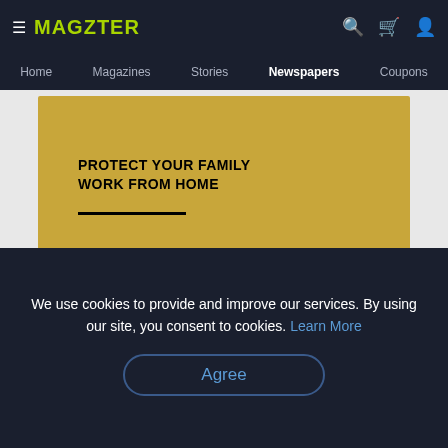MAGZTER
Home  Magazines  Stories  Newspapers  Coupons
[Figure (screenshot): Gold-colored book cover card with bold text: PROTECT YOUR FAMILY / WORK FROM HOME with black underline]
[Figure (screenshot): White card with bold text: FIGHT AGAINST / CORONA VIRUS and a yellow circle icon with open book]
PREVIEW
[Figure (screenshot): Social share bar with icons: Facebook, Twitter, Email, WhatsApp, Pinterest]
We use cookies to provide and improve our services. By using our site, you consent to cookies. Learn More
Agree